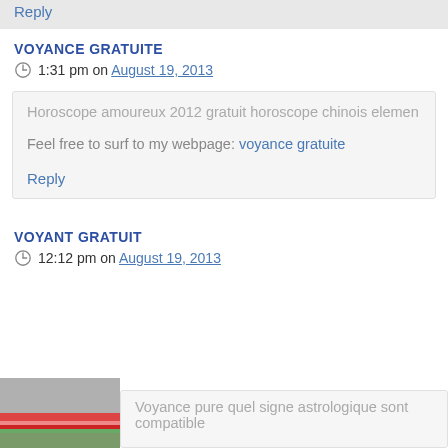Reply
VOYANCE GRATUITE
1:31 pm on August 19, 2013
Horoscope amoureux 2012 gratuit horoscope chinois elemen
Feel free to surf to my webpage: voyance gratuite
Reply
VOYANT GRATUIT
12:12 pm on August 19, 2013
Voyance pure quel signe astrologique sont compatible